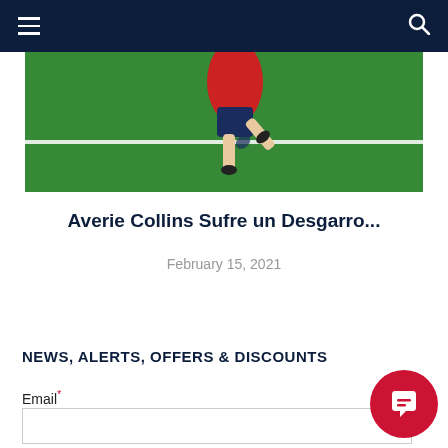Navigation bar with hamburger menu and search icon
[Figure (photo): Soccer player on a green artificial turf field, wearing red top and navy shorts, kicking a ball. White field line visible in background.]
Averie Collins Sufre un Desgarro...
February 15, 2021
NEWS, ALERTS, OFFERS & DISCOUNTS
Email*
[Figure (other): Red circular chat button with speech bubble icon in bottom right corner]